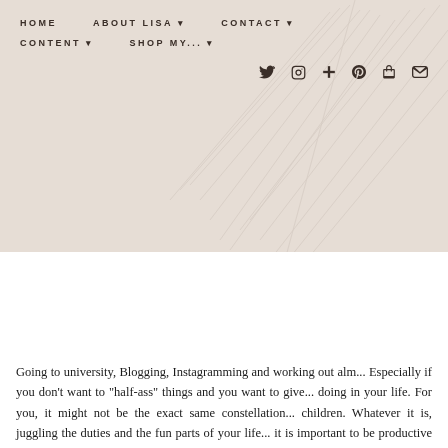HOME   ABOUT LISA ▾   CONTACT ▾   CONTENT ▾   SHOP MY... ▾
[Figure (photo): Photograph of a Prada Candy perfume bottle lying on a white marble surface with reflective silver foil packaging, close-up shot with blurred background.]
Going to university, Blogging, Instagramming and working out alm... Especially if you don't want to "half-ass" things and you want to give... doing in your life. For you, it might not be the exact same constellation... children. Whatever it is, juggling the duties and the fun parts of your life... it is important to be productive with your time. When you schedule yo... much more you can fit in your day. Even if it is more "me time".